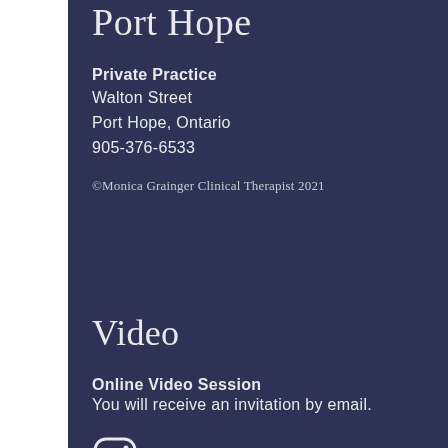Port Hope
Private Practice
Walton Street
Port Hope, Ontario
905-376-6533
©Monica Grainger Clinical Therapist 2021
Video
Online Video Session
You will receive an invitation by email.
[Figure (logo): Instagram logo icon in white outline style]